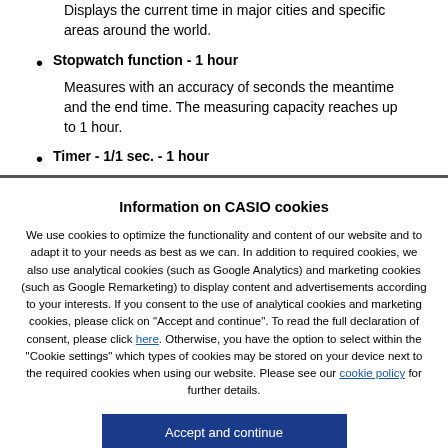Displays the current time in major cities and specific areas around the world.
Stopwatch function - 1 hour
Measures with an accuracy of seconds the meantime and the end time. The measuring capacity reaches up to 1 hour.
Timer - 1/1 sec. - 1 hour
Information on CASIO cookies
We use cookies to optimize the functionality and content of our website and to adapt it to your needs as best as we can. In addition to required cookies, we also use analytical cookies (such as Google Analytics) and marketing cookies (such as Google Remarketing) to display content and advertisements according to your interests. If you consent to the use of analytical cookies and marketing cookies, please click on "Accept and continue". To read the full declaration of consent, please click here. Otherwise, you have the option to select within the "Cookie settings" which types of cookies may be stored on your device next to the required cookies when using our website. Please see our cookie policy for further details.
Accept and continue
Cookie settings